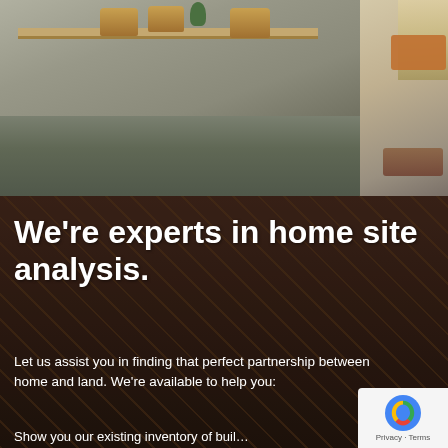[Figure (photo): Interior photo of a room with a wooden shelf holding wicker baskets and a plant, with a view into a bedroom with an orange blanket and a rug on hardwood floor. Light comes through a window.]
We’re experts in home site analysis.
Let us assist you in finding that perfect partnership between home and land. We’re available to help you:
Show you our existing inventory of buil... sites, one of which may be a perfect match